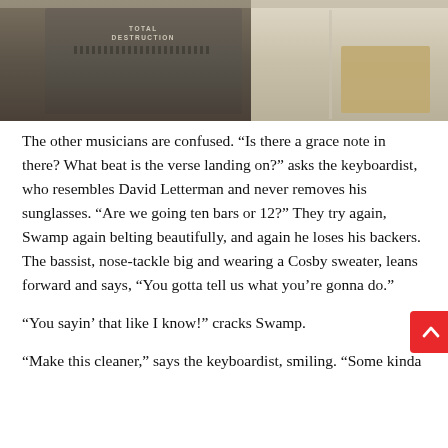[Figure (photo): A person wearing a 'Total Destruction' t-shirt leaning over a surface, photographed indoors with shelving visible in the background.]
The other musicians are confused. “Is there a grace note in there? What beat is the verse landing on?” asks the keyboardist, who resembles David Letterman and never removes his sunglasses. “Are we going ten bars or 12?” They try again, Swamp again belting beautifully, and again he loses his backers. The bassist, nose-tackle big and wearing a Cosby sweater, leans forward and says, “You gotta tell us what you’re gonna do.”
“You sayin’ that like I know!” cracks Swamp.
“Make this cleaner,” says the keyboardist, smiling. “Some kinda